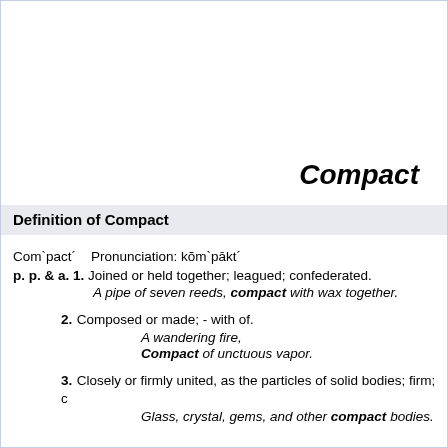Compact
Definition of Compact
Com`pact´   Pronunciation: kŏm`pākt´
p. p. & a. 1. Joined or held together; leagued; confederated.
A pipe of seven reeds, compact with wax together.
2. Composed or made; - with of.
A wandering fire, Compact of unctuous vapor.
3. Closely or firmly united, as the particles of solid bodies; firm; c
Glass, crystal, gems, and other compact bodies.